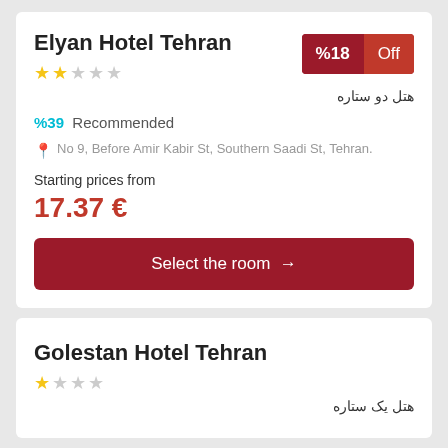Elyan Hotel Tehran
هتل دو ستاره
%39  Recommended
No 9, Before Amir Kabir St, Southern Saadi St, Tehran.
Starting prices from
17.37 €
%18 Off
Select the room →
Golestan Hotel Tehran
هتل یک ستاره